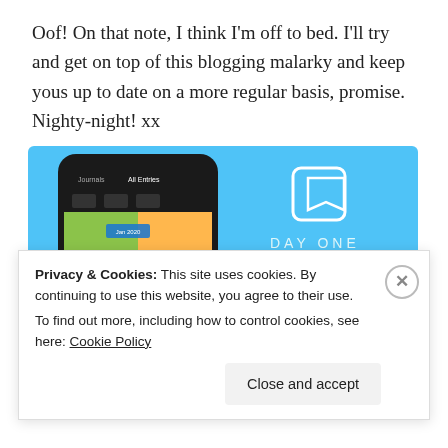Oof! On that note, I think I'm off to bed. I'll try and get on top of this blogging malarky and keep yous up to date on a more regular basis, promise. Nighty-night! xx
[Figure (screenshot): Day One app advertisement banner with blue background showing a smartphone screenshot of the Day One journal app, the text 'DAY ONE', 'Your Journal for life', and a 'Get the app' button.]
Privacy & Cookies: This site uses cookies. By continuing to use this website, you agree to their use.
To find out more, including how to control cookies, see here: Cookie Policy
Close and accept